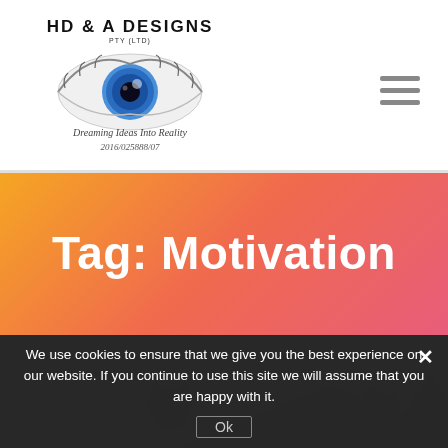[Figure (logo): HD & A Designs Pty Ltd logo with eye graphic and tagline 'Dreaming Ideas Into Reality 2016/025888/07']
Tag: Motivation
We use cookies to ensure that we give you the best experience on our website. If you continue to use this site we will assume that you are happy with it.
[Figure (photo): Partially visible bottom image strip showing people, dark background]